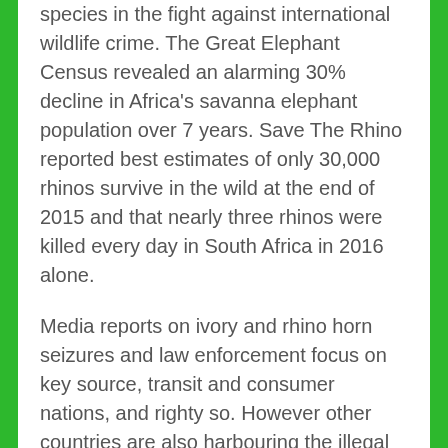species in the fight against international wildlife crime. The Great Elephant Census revealed an alarming 30% decline in Africa's savanna elephant population over 7 years. Save The Rhino reported best estimates of only 30,000 rhinos survive in the wild at the end of 2015 and that nearly three rhinos were killed every day in South Africa in 2016 alone.
Media reports on ivory and rhino horn seizures and law enforcement focus on key source, transit and consumer nations, and righty so. However other countries are also harbouring the illegal trade.
Notably, the Pacific is increasingly becoming a source and transit region for illegal wildlife trafficking, where trade is "well organized by opportunistic criminal networks and unscrupulous traders". In the heart of this region, New Zealand and Australia have a concern that they are directed to